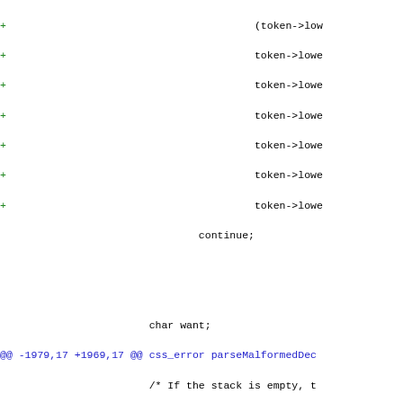[Figure (other): Code diff showing changes to CSS parser source code with added lines in green, removed lines in red, and diff hunk headers in blue. Context lines in black monospace.]